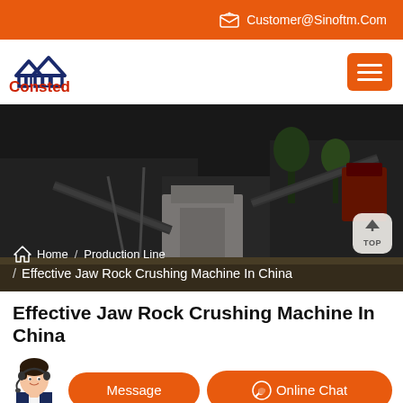Customer@Sinoftm.Com
[Figure (logo): Consted logo with house/roof icon in dark navy blue and red text]
[Figure (photo): Outdoor industrial jaw rock crushing production line facility with conveyor belts, machinery and construction site]
Home / Production Line / Effective Jaw Rock Crushing Machine In China
Effective Jaw Rock Crushing Machine In China
[Figure (illustration): Customer service agent with headset illustration]
Message
Online Chat
equipment etc. we offer advanced, rational solutions for any size-